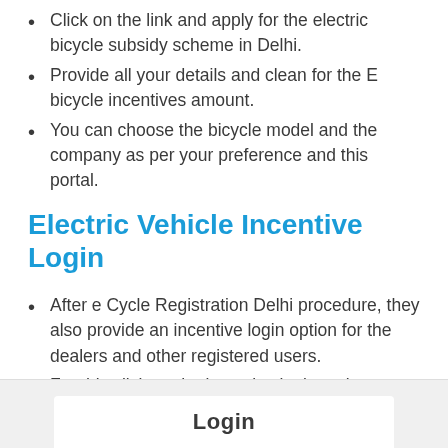Click on the link and apply for the electric bicycle subsidy scheme in Delhi.
Provide all your details and clean for the E bicycle incentives amount.
You can choose the bicycle model and the company as per your preference and this portal.
Electric Vehicle Incentive Login
After e Cycle Registration Delhi procedure, they also provide an incentive login option for the dealers and other registered users.
For this click on the incentive login option on the right side of the Main Menu.
[Figure (screenshot): Screenshot showing a Login form with a white box on a light gray background, with 'Login' text visible at the bottom of the page.]